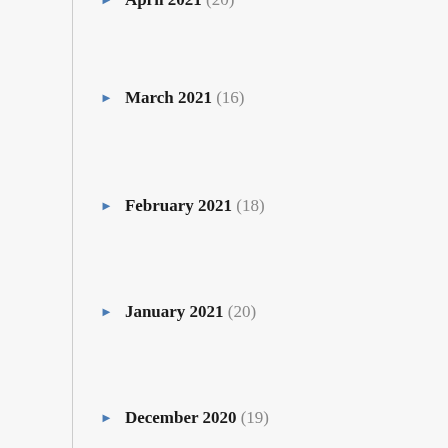April 2021 (20)
March 2021 (16)
February 2021 (18)
January 2021 (20)
December 2020 (19)
November 2020 (9)
October 2020 (30)
September 2020 (22)
August 2020 (21)
July 2020 (28)